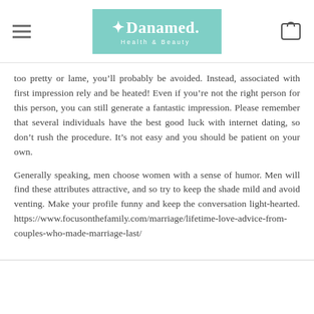Danamed. Health & Beauty
too pretty or lame, you’ll probably be avoided. Instead, associated with first impression rely and be heated! Even if you’re not the right person for this person, you can still generate a fantastic impression. Please remember that several individuals have the best good luck with internet dating, so don’t rush the procedure. It’s not easy and you should be patient on your own.
Generally speaking, men choose women with a sense of humor. Men will find these attributes attractive, and so try to keep the shade mild and avoid venting. Make your profile funny and keep the conversation light-hearted. https://www.focusonthefamily.com/marriage/lifetime-love-advice-from-couples-who-made-marriage-last/